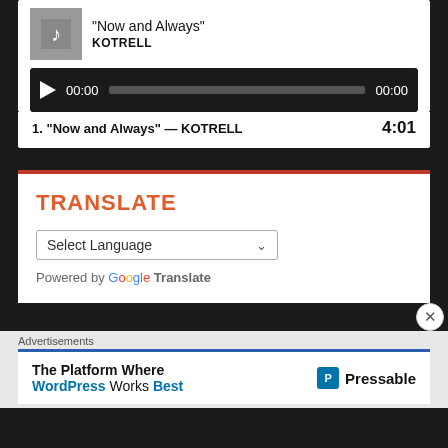[Figure (screenshot): Music player widget showing track 'Now and Always' by KOTRELL with audio playback bar showing 00:00 timestamps]
1. “Now and Always” — KOTRELL   4:01
TRANSLATE
Select Language
Powered by Google Translate
Advertisements
The Platform Where WordPress Works Best   Pressable